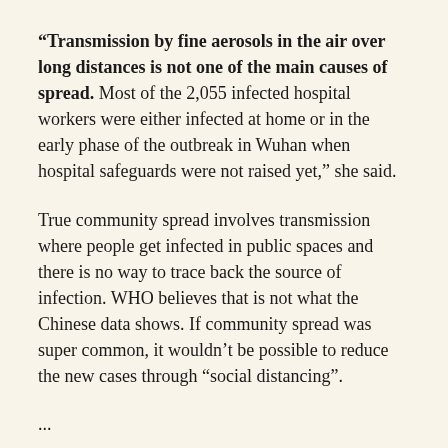“Transmission by fine aerosols in the air over long distances is not one of the main causes of spread. Most of the 2,055 infected hospital workers were either infected at home or in the early phase of the outbreak in Wuhan when hospital safeguards were not raised yet,” she said.
True community spread involves transmission where people get infected in public spaces and there is no way to trace back the source of infection. WHO believes that is not what the Chinese data shows. If community spread was super common, it wouldn’t be possible to reduce the new cases through “social distancing”.
...
An author of a working paper from the Department of Ecology and Evolutionary Biology at Princeton University said, “The current scientific consensus is that most transmission via respiratory secretions happens in the form of large respiratory droplets